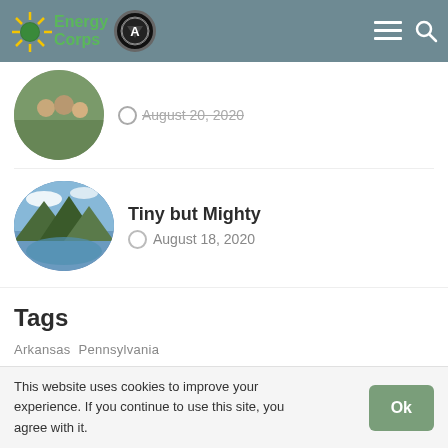Energy Corps
August 20, 2020
Tiny but Mighty
August 18, 2020
Tags
Arkansas  Pennsylvania
About Us
This website uses cookies to improve your experience. If you continue to use this site, you agree with it.